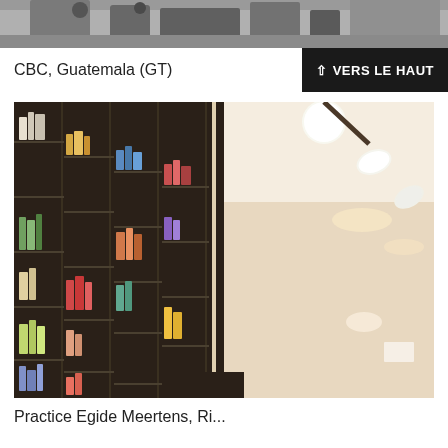[Figure (photo): Partial view of industrial/mechanical equipment, cropped at top of page]
CBC, Guatemala (GT)
[Figure (photo): Interior photo of a modern library/office space showing dark wooden bookshelf with colorful books on the left and a bright room with ceiling spotlights on the right]
Practice Egide Meertens, Ri...